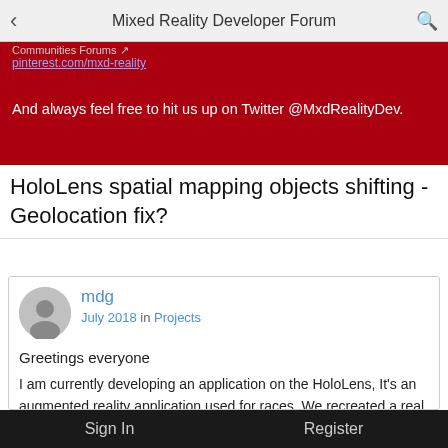Mixed Reality Developer Forum
Communities Forums ↗
pinterest.com/mxd-reality
And always feel free to hit us up on Twitter @MxdRealityDev.
HoloLens spatial mapping objects shifting - Geolocation fix?
mdg
July 2018 in Projects
Greetings everyone
I am currently developing an application on the HoloLens, It's an augmented reality application used for races. We recreated a real life circuit in Unity to be displayed while racing on a given track. This is all projected perfectly. However when we try and run around in our track, we get a message from the HoloLens about its bounds from the mesh that has been set.
Sign In      Register